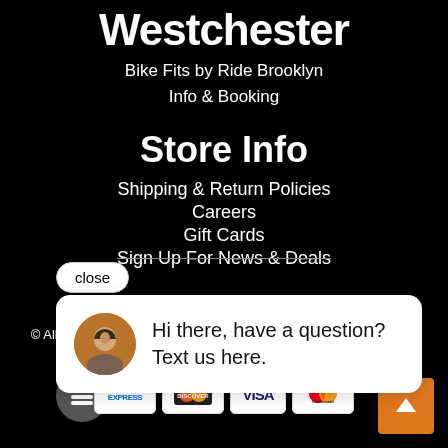Westchester
Bike Fits by Ride Brooklyn
Info & Booking
Store Info
Shipping & Return Policies
Careers
Gift Cards
Sign Up For News & Deals
[Figure (screenshot): Chat popup widget with avatar photo and text: Hi there, have a question? Text us here. Close button above.]
© All Rights Reserved | Your Privacy | Accessibility | Billing Terms & Conditions
[Figure (other): Payment card logos: American Express, Discover, Visa, Mastercard]